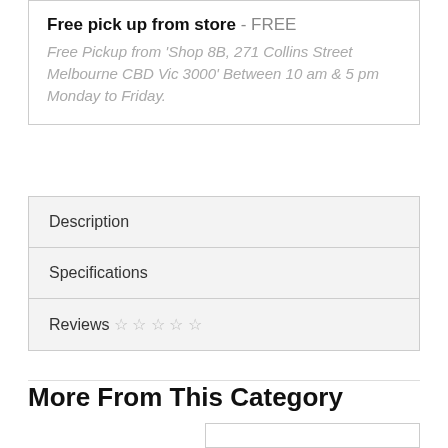Free pick up from store - FREE
Free Pickup from 'Shop 8B, 271 Collins Street Melbourne CBD Vic 3000' Between 10 am & 5 pm Monday to Friday.
Description
Specifications
Reviews ☆ ☆ ☆ ☆ ☆
More From This Category
Christmas Island Stamps 2012 Year of the Dragon "B
$0.00